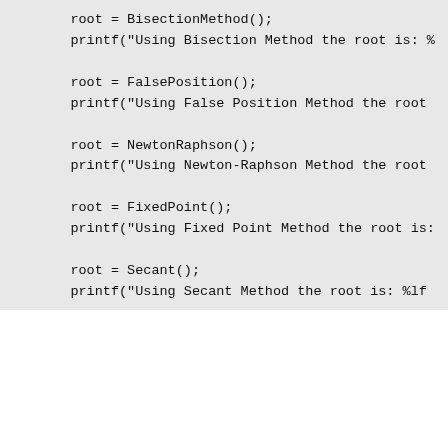root = BisectionMethod();
printf("Using Bisection Method the root is: %

root = FalsePosition();
printf("Using False Position Method the root

root = NewtonRaphson();
printf("Using Newton-Raphson Method the root

root = FixedPoint();
printf("Using Fixed Point Method the root is:

root = Secant();
printf("Using Secant Method the root is: %lf

return 0;
}